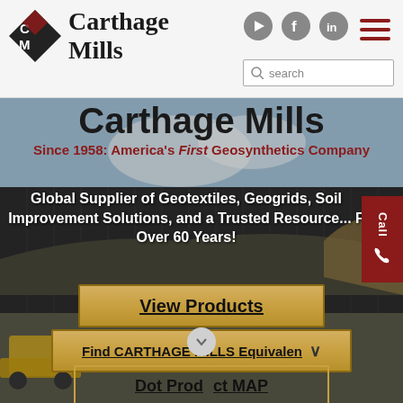Carthage Mills
Carthage Mills
Since 1958: America's First Geosynthetics Company
Global Supplier of Geotextiles, Geogrids, Soil Improvement Solutions, and a Trusted Resource... For Over 60 Years!
[Figure (screenshot): Background photo of a construction/geosynthetics site showing dark fabric/geotextile lined earthwork with heavy equipment]
View Products
Find CARTHAGE MILLS Equivalent
Dot Product MAP